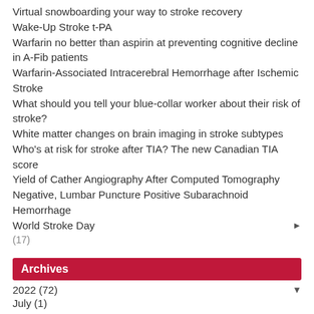Virtual snowboarding your way to stroke recovery
Wake-Up Stroke t-PA
Warfarin no better than aspirin at preventing cognitive decline in A-Fib patients
Warfarin-Associated Intracerebral Hemorrhage after Ischemic Stroke
What should you tell your blue-collar worker about their risk of stroke?
White matter changes on brain imaging in stroke subtypes
Who's at risk for stroke after TIA? The new Canadian TIA score
Yield of Cather Angiography After Computed Tomography Negative, Lumbar Puncture Positive Subarachnoid Hemorrhage
World Stroke Day ►
(17)
Archives
2022 (72) ▼
July (1)
June (6)
May (14)
April (11)
March (16)
February (12)